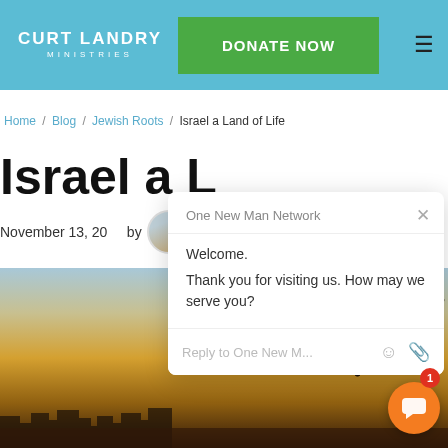CURT LANDRY MINISTRIES | DONATE NOW
Home / Blog / Jewish Roots / Israel a Land of Life
Israel a Land of Life
November 13, 20__ by
[Figure (screenshot): Chat widget popup from One New Man Network with message: Welcome. Thank you for visiting us. How may we serve you? Input area says Reply to One New Man M...]
[Figure (photo): Scenic photograph of Israel landscape at sunset with tree silhouette, sunburst, and cityscape in background]